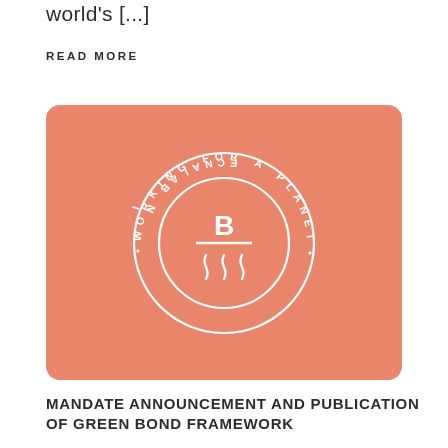world's [...]
READ MORE
[Figure (logo): Circular badge logo on salmon/orange rounded rectangle background. The badge reads 'WORKING FOR A PLANET IN BALANCE' around the perimeter, with a stylized B letter above a horizontal line and steam/wave symbol beneath it in the center.]
MANDATE ANNOUNCEMENT AND PUBLICATION OF GREEN BOND FRAMEWORK
01/03/2022